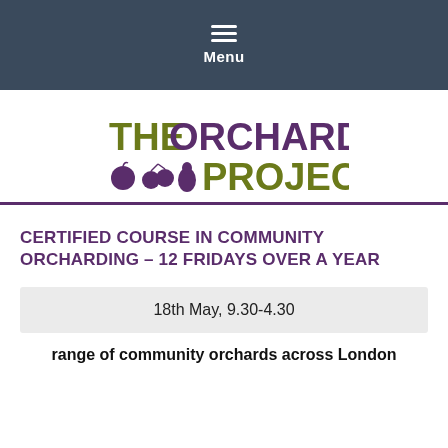Menu
[Figure (logo): The Orchard Project logo with olive green text and purple fruit icons (apple, cherry, pear)]
CERTIFIED COURSE IN COMMUNITY ORCHARDING – 12 FRIDAYS OVER A YEAR
18th May, 9.30-4.30
range of community orchards across London